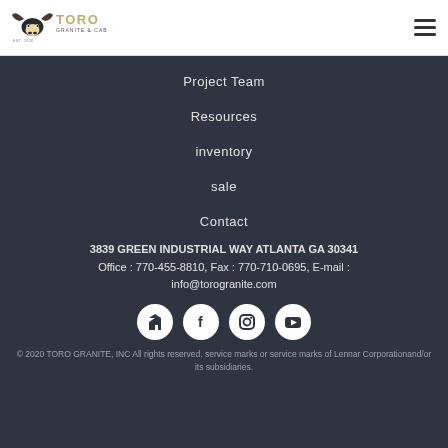TORO GRANITE & CABINETRY EST 2000
Project Team
Resources
inventory
sale
Contact
3839 GREEN INDUSTRIAL WAY ATLANTA GA 30341
Office : 770-455-8810, Fax : 770-710-0695, E-mail :
info@torogranite.com
[Figure (other): Social media icons: Houzz, Facebook, Instagram, YouTube]
© 2020 TORO GRANITE, INC All rights reserved. service marks or service marks of Lennar Corporationand/or its subsidiaries.